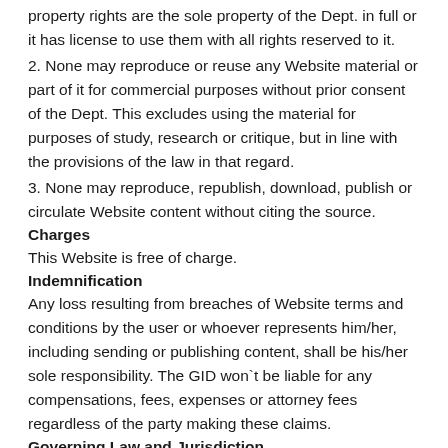property rights are the sole property of the Dept. in full or it has license to use them with all rights reserved to it.
2. None may reproduce or reuse any Website material or part of it for commercial purposes without prior consent of the Dept. This excludes using the material for purposes of study, research or critique, but in line with the provisions of the law in that regard.
3. None may reproduce, republish, download, publish or circulate Website content without citing the source.
Charges
This Website is free of charge.
Indemnification
Any loss resulting from breaches of Website terms and conditions by the user or whoever represents him/her, including sending or publishing content, shall be his/her sole responsibility. The GID won`t be liable for any compensations, fees, expenses or attorney fees regardless of the party making these claims.
Governing Law and Jurisdiction
Provisions of Jordanian laws shall apply whenever this Website is accessed, including terms and conditions